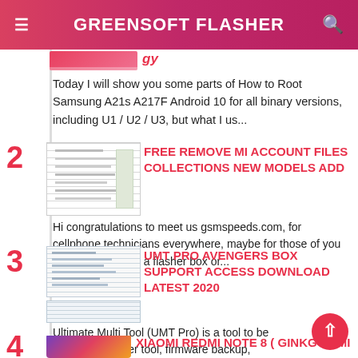GREENSOFT FLASHER
Today I will show you some parts of How to Root Samsung A21s A217F Android 10 for all binary versions, including U1 / U2 / U3, but what I us...
2 FREE REMOVE MI ACCOUNT FILES COLLECTIONS NEW MODELS ADD
Hi congratulations to meet us gsmspeeds.com, for cellphone technicians everywhere, maybe for those of you who already have a flasher box or...
3 UMT PRO AVENGERS BOX SUPPORT ACCESS DOWNLOAD LATEST 2020
Ultimate Multi Tool (UMT Pro) is a tool to be used as a flasher tool, firmware backup, overcoming passcode and many other features in this ...
4 XIAOMI REDMI NOTE 8 ( GINKGO ) MI